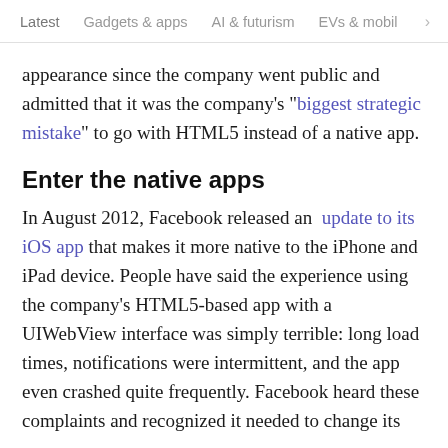Latest   Gadgets & apps   AI & futurism   EVs & mobil  >
appearance since the company went public and admitted that it was the company's “biggest strategic mistake” to go with HTML5 instead of a native app.
Enter the native apps
In August 2012, Facebook released an update to its iOS app that makes it more native to the iPhone and iPad device. People have said the experience using the company’s HTML5-based app with a UIWebView interface was simply terrible: long load times, notifications were intermittent, and the app even crashed quite frequently. Facebook heard these complaints and recognized it needed to change its